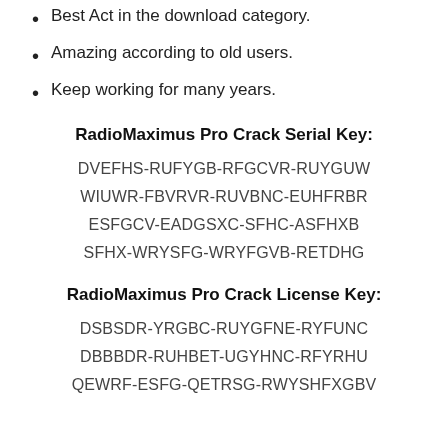Best Act in the download category.
Amazing according to old users.
Keep working for many years.
RadioMaximus Pro Crack Serial Key:
DVEFHS-RUFYGB-RFGCVR-RUYGUW
WIUWR-FBVRVR-RUVBNC-EUHFRBR
ESFGCV-EADGSXC-SFHC-ASFHXB
SFHX-WRYSFG-WRYFGVB-RETDHG
RadioMaximus Pro Crack License Key:
DSBSDR-YRGBC-RUYGFNE-RYFUNC
DBBBDR-RUHBET-UGYHNC-RFYRHU
QEWRF-ESFG-QETRSG-RWYSHFXGBV